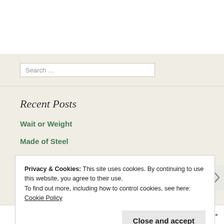Search ...
Recent Posts
Wait or Weight
Made of Steel
Pull Back the Covers
2 for 1
Privacy & Cookies: This site uses cookies. By continuing to use this website, you agree to their use. To find out more, including how to control cookies, see here: Cookie Policy
Close and accept
Follow